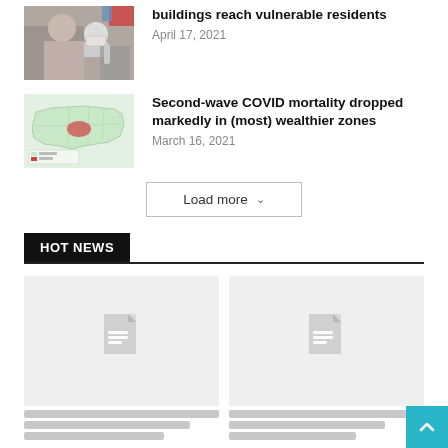buildings reach vulnerable residents
April 17, 2021
[Figure (photo): Person receiving vaccine or medical procedure]
Second-wave COVID mortality dropped markedly in (most) wealthier zones
March 16, 2021
[Figure (map): Map of United States showing COVID data by region]
Load more
HOT NEWS
[Figure (other): Placeholder card with document icon]
[Figure (other): Placeholder card with document icon]